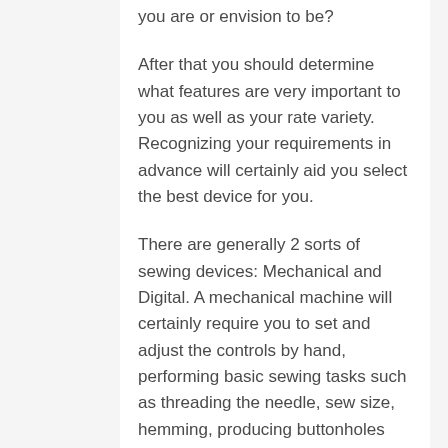you are or envision to be?
After that you should determine what features are very important to you as well as your rate variety. Recognizing your requirements in advance will certainly aid you select the best device for you.
There are generally 2 sorts of sewing devices: Mechanical and Digital. A mechanical machine will certainly require you to set and adjust the controls by hand, performing basic sewing tasks such as threading the needle, sew size, hemming, producing buttonholes together with basic upkeep.
An digital stitching equipment will automate much of the fundamental